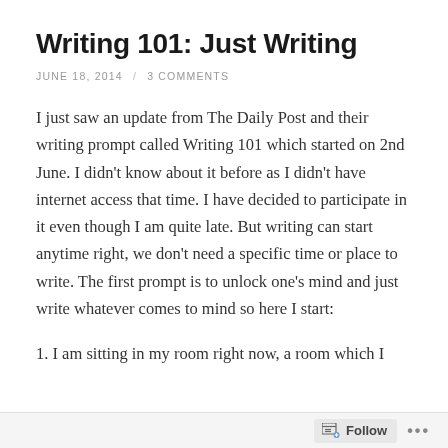Writing 101: Just Writing
JUNE 18, 2014 / 3 COMMENTS
I just saw an update from The Daily Post and their writing prompt called Writing 101 which started on 2nd June. I didn't know about it before as I didn't have internet access that time. I have decided to participate in it even though I am quite late. But writing can start anytime right, we don't need a specific time or place to write. The first prompt is to unlock one's mind and just write whatever comes to mind so here I start:
1. I am sitting in my room right now, a room which I